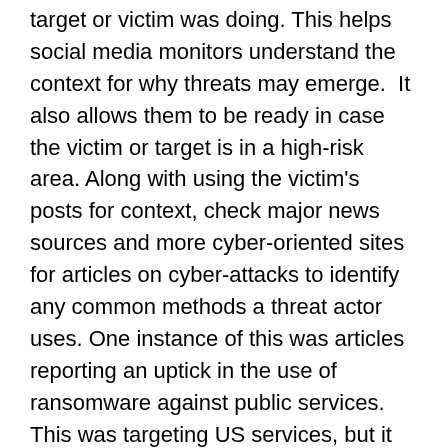target or victim was doing. This helps social media monitors understand the context for why threats may emerge.  It also allows them to be ready in case the victim or target is in a high-risk area. Along with using the victim's posts for context, check major news sources and more cyber-oriented sites for articles on cyber-attacks to identify any common methods a threat actor uses. One instance of this was articles reporting an uptick in the use of ransomware against public services. This was targeting US services, but it was a common method, so you should watch for people using it against the organizations you are monitoring.
Depending on your monitoring objectives and other parameters, you may also identify new client accounts to watch, or news sites to follow that can assist in monitoring. Automate and aggregate feeds to the extent possible. It is perfectly acceptable to continually add accounts and sites to your monitoring list because...